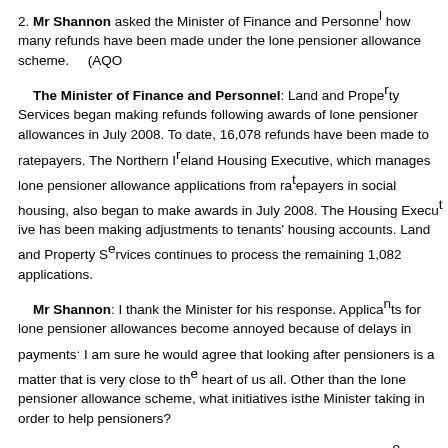2. Mr Shannon asked the Minister of Finance and Personnel how many refunds have been made under the lone pensioner allowance scheme. (AQO…
The Minister of Finance and Personnel: Land and Property Services began making refunds following awards of lone pensioner allowances in July 2008. To date, 16,078 refunds have been made to ratepayers. The Northern Ireland Housing Executive, which manages lone pensioner allowance applications from ratepayers in social housing, also began to make awards in July 2008. The Housing Executive has been making adjustments to tenants' housing accounts. Land and Property Services continues to process the remaining 1,082 applications.
Mr Shannon: I thank the Minister for his response. Applicants for lone pensioner allowances become annoyed because of delays in payments. I am sure he would agree that looking after pensioners is a matter that is very close to the heart of us all. Other than the lone pensioner allowance scheme, what initiatives is the Minister taking in order to help pensioners?
The Minister of Finance and Personnel: I thank the Member for his question and his frustration about people having to wait unreasonable lengths of time to receive payments. As I said, 1,082 applications still have to be processed, but most of those will be processed very soon. Almost £2·5 million has been awarded under the lone pensioner allowance scheme; a substantial amount of money…